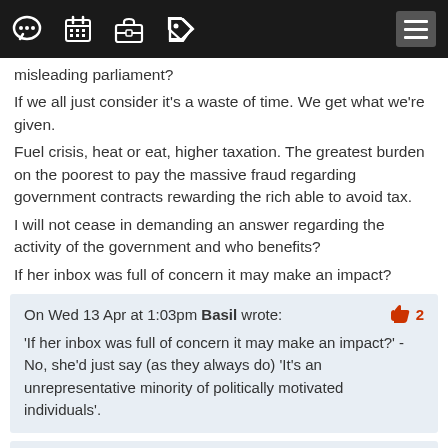[Navigation bar with icons: chat, calendar, briefcase, tag, hamburger menu]
misleading parliament?
If we all just consider it's a waste of time. We get what we're given.
Fuel crisis, heat or eat, higher taxation. The greatest burden on the poorest to pay the massive fraud regarding government contracts rewarding the rich able to avoid tax.
I will not cease in demanding an answer regarding the activity of the government and who benefits?
If her inbox was full of concern it may make an impact?
On Wed 13 Apr at 1:03pm Basil wrote: 👍 2
'If her inbox was full of concern it may make an impact?' - No, she'd just say (as they always do) 'It's an unrepresentative minority of politically motivated individuals'.
On Wed 13 Apr at 5:09pm Doug wrote: